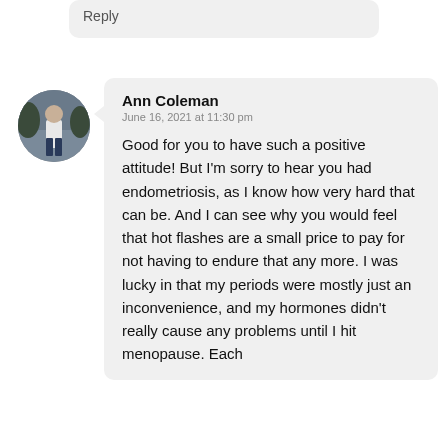Reply
Ann Coleman
June 16, 2021 at 11:30 pm

Good for you to have such a positive attitude! But I'm sorry to hear you had endometriosis, as I know how very hard that can be. And I can see why you would feel that hot flashes are a small price to pay for not having to endure that any more. I was lucky in that my periods were mostly just an inconvenience, and my hormones didn't really cause any problems until I hit menopause. Each